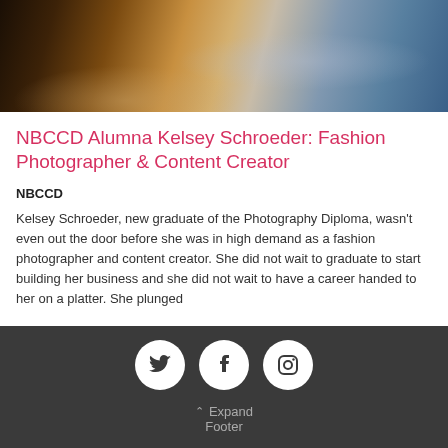[Figure (photo): Photograph of people working at a table, partially visible, warm and cool tones, hands and paper visible]
NBCCD Alumna Kelsey Schroeder: Fashion Photographer & Content Creator
NBCCD
Kelsey Schroeder, new graduate of the Photography Diploma, wasn't even out the door before she was in high demand as a fashion photographer and content creator. She did not wait to graduate to start building her business and she did not wait to have a career handed to her on a platter. She plunged
Twitter, Facebook, Instagram icons. Expand Footer